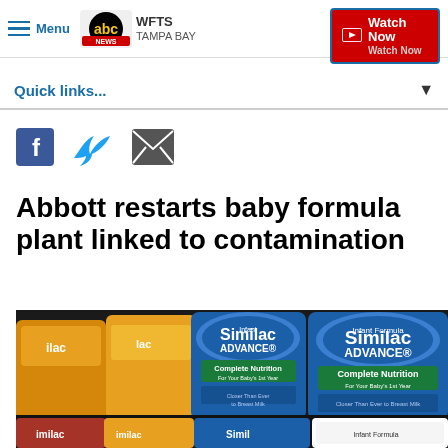Menu | WFTS TAMPA BAY | Watch Now
Quick links...
[Figure (other): Social media share icons: Facebook, Twitter, Email]
Abbott restarts baby formula plant linked to contamination
[Figure (photo): Photo of Similac Advance Complete Nutrition baby formula cans on store shelves]